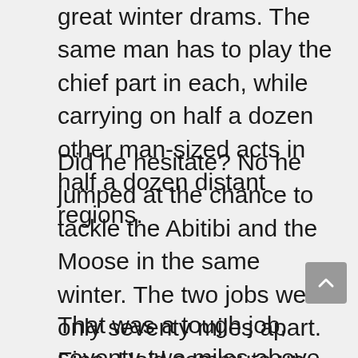great winter drams. The same man has to play the chief part in each, while carrying on half a dozen other man-sized acts in half a dozen distant regions.
Did he hesitate? No he jumped at the chance to tackle the Abitibi and the Moose in the same winter. The two jobs were only seventy miles apart. Fine. He'd commute up and down by airplane. And that is exactly what he has been doing all winter, though his main concentration has been on the Abitibi.
That was a tough job, seventy-two miles above Cochrane, in the midst of what six months ago was undisturbed wilderness. The…